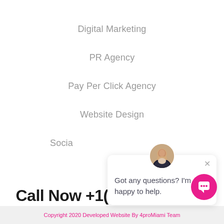Digital Marketing
PR Agency
Pay Per Click Agency
Website Design
Social
[Figure (illustration): Chat widget with avatar photo of a woman, close button X, and text: Got any questions? I'm happy to help.]
Call Now +1(786) 800 3955
Copyright 2020 Developed Website By 4proMiami Team